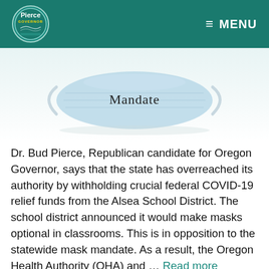Pierce Governor — MENU
[Figure (photo): A light blue surgical face mask with the word 'Mandate' printed on it, photographed on a white background.]
Dr. Bud Pierce, Republican candidate for Oregon Governor, says that the state has overreached its authority by withholding crucial federal COVID-19 relief funds from the Alsea School District. The school district announced it would make masks optional in classrooms. This is in opposition to the statewide mask mandate. As a result, the Oregon Health Authority (OHA) and … Read more